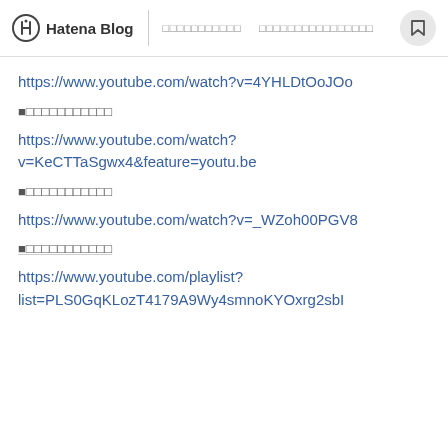Hatena Blog
https://www.youtube.com/watch?v=4YHLDtOoJOo
■□□□□□□□□□□□
https://www.youtube.com/watch?v=KeCTTaSgwx4&feature=youtu.be
■□□□□□□□□□□□
https://www.youtube.com/watch?v=_WZoh00PGV8
■□□□□□□□□□□□
https://www.youtube.com/playlist?list=PLS0GqKLozT4179A9Wy4smnoKYOxrg2sbI